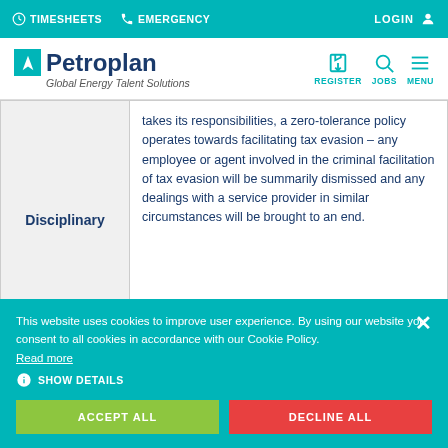TIMESHEETS  EMERGENCY  LOGIN
[Figure (logo): Petroplan Global Energy Talent Solutions logo with teal square icon, REGISTER, JOBS, MENU navigation icons]
| Category | Content |
| --- | --- |
| Disciplinary | takes its responsibilities, a zero-tolerance policy operates towards facilitating tax evasion – any employee or agent involved in the criminal facilitation of tax evasion will be summarily dismissed and any dealings with a service provider in similar circumstances will be brought to an end. |
|  | Petroplan has not yet investigated in... |
This website uses cookies to improve user experience. By using our website you consent to all cookies in accordance with our Cookie Policy. Read more
SHOW DETAILS
ACCEPT ALL  DECLINE ALL